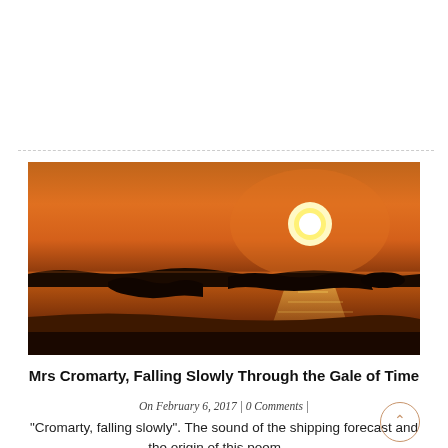[Figure (photo): A coastal sunset photograph showing silhouetted rocks along a beach with orange sky and a bright sun reflected on calm water.]
Mrs Cromarty, Falling Slowly Through the Gale of Time
On February 6, 2017 | 0 Comments |
“Cromarty, falling slowly”. The sound of the shipping forecast and the origin of this poem. ...